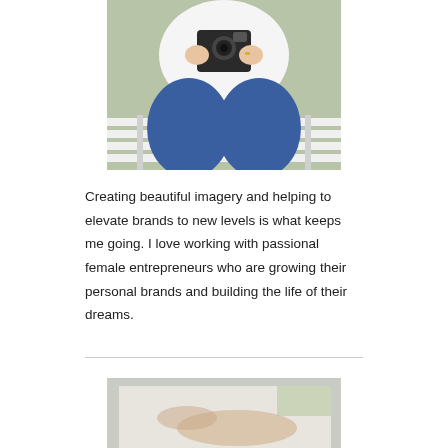[Figure (photo): A woman in a white t-shirt and blue jeans sitting on a white bench, holding a vintage camera. Only the torso and legs are visible, with green foliage in the background.]
Creating beautiful imagery and helping to elevate brands to new levels is what keeps me going. I love working with passional female entrepreneurs who are growing their personal brands and building the life of their dreams.
[Figure (photo): Partial photo visible at the bottom of the page, showing a light-colored surface with what appears to be a hand or arm.]